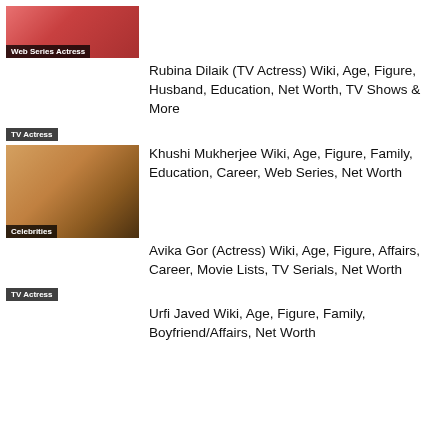[Figure (photo): Thumbnail image of a web series actress in pink, with badge 'Web Series Actress']
Rubina Dilaik (TV Actress) Wiki, Age, Figure, Husband, Education, Net Worth, TV Shows & More
[Figure (other): TV Actress badge standalone]
[Figure (photo): Thumbnail photo of Khushi Mukherjee with warm background, badge 'Celebrities']
Khushi Mukherjee Wiki, Age, Figure, Family, Education, Career, Web Series, Net Worth
Avika Gor (Actress) Wiki, Age, Figure, Affairs, Career, Movie Lists, TV Serials, Net Worth
[Figure (other): TV Actress badge standalone]
Urfi Javed Wiki, Age, Figure, Family, Boyfriend/Affairs, Net Worth